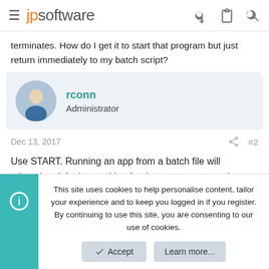jpsoftware
terminates. How do I get it to start that program but just return immediately to my batch script?
rconn
Administrator
Dec 13, 2017  #2
Use START. Running an app from a batch file will otherwise default to waiting for the program to terminate (so that you can get the return code).
This site uses cookies to help personalise content, tailor your experience and to keep you logged in if you register.
By continuing to use this site, you are consenting to our use of cookies.
Accept  Learn more...